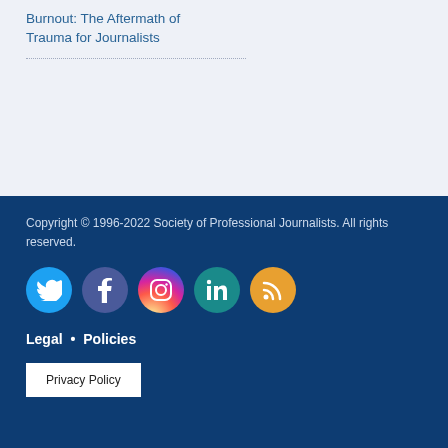Burnout: The Aftermath of Trauma for Journalists
Copyright © 1996-2022 Society of Professional Journalists. All rights reserved.
[Figure (other): Social media icons: Twitter, Facebook, Instagram, LinkedIn, RSS]
Legal • Policies
Privacy Policy